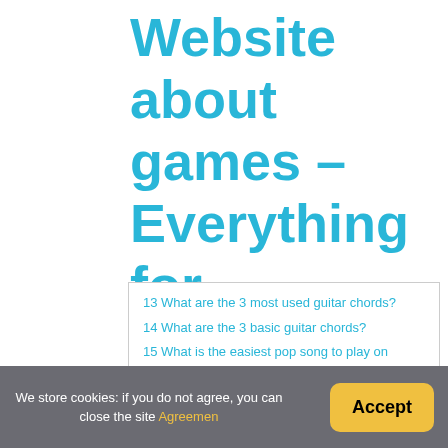Website about games – Everything for gamers
13 What are the 3 most used guitar chords?
14 What are the 3 basic guitar chords?
15 What is the easiest pop song to play on guitar?
How can I teach myself to play guitar suc
Tips for Teaching Yourself Guitar
We store cookies: if you do not agree, you can close the site Agreement